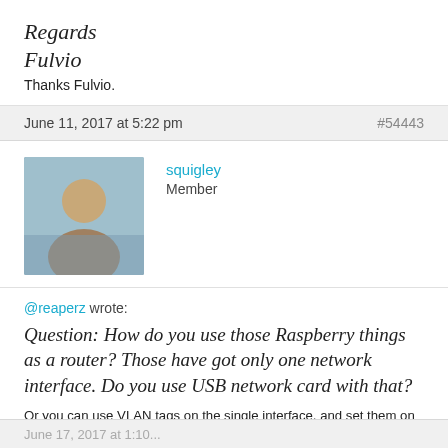Regards
Fulvio
Thanks Fulvio.
June 11, 2017 at 5:22 pm  #54443
squigley
Member
@reaperz wrote:

Question: How do you use those Raspberry things as a router? Those have got only one network interface. Do you use USB network card with that?

Or you can use VLAN tags on the single interface, and set them on your switch/AP. I have mine trunked to a Linksys access point, and I configured the WAN and LAN to both be tagged on the port on the Linksys which the Pi is plugged into, with matching tagged interfaces for WAN and LAN.